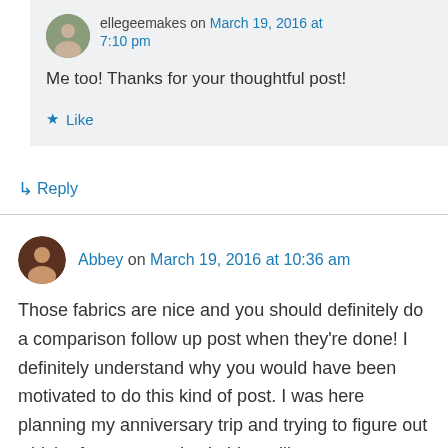ellegeemakes on March 19, 2016 at 7:10 pm
Me too! Thanks for your thoughtful post!
★ Like
↳ Reply
Abbey on March 19, 2016 at 10:36 am
Those fabrics are nice and you should definitely do a comparison follow up post when they're done! I definitely understand why you would have been motivated to do this kind of post. I was here planning my anniversary trip and trying to figure out which of my me-made clothing will